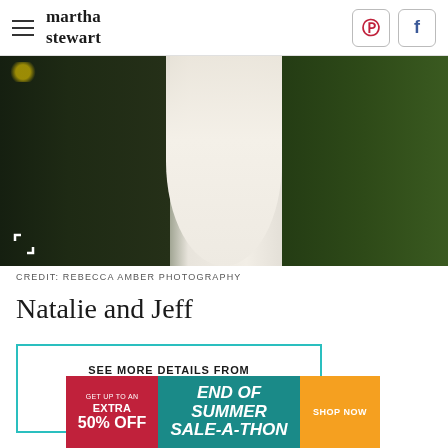martha stewart
[Figure (photo): Wedding photo showing a white bridal gown train against a dark suit and green grassy outdoor background]
CREDIT: REBECCA AMBER PHOTOGRAPHY
Natalie and Jeff
SEE MORE DETAILS FROM NATALIE AND JEFF&RSQUO;S WEDDING
[Figure (infographic): Advertisement banner: GET UP TO AN EXTRA 50% OFF — END OF SUMMER SALE-A-THON — SHOP NOW]